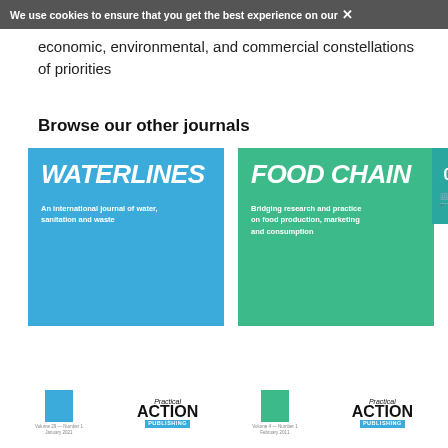We use cookies to ensure that you get the best experience on our ✕
economic, environmental, and commercial constellations of priorities
Browse our other journals
[Figure (other): Waterlines journal cover card — blue background with title WATERLINES in bold italic white text and subtitle 'An international journal of water, sanitation and waste']
[Figure (other): Food Chain journal cover card — green background with title FOOD CHAIN in bold italic white text and subtitle 'Bridging research and practice on food production, marketing and consumption', with a teal cart tab showing 0 and a shopping cart icon]
Volume 29 — Number 1 January 2021 | Practical ACTION PUBLISHING | Volume 4 — Number 1 February 2011 | Practical ACTION PUBLISHING